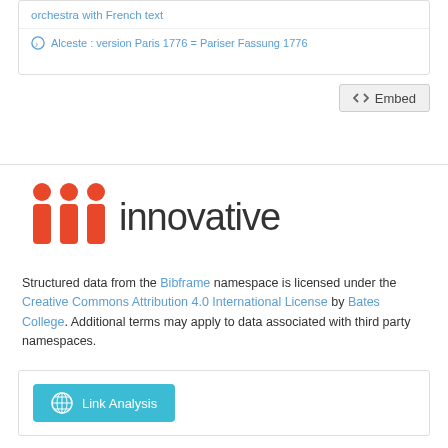orchestra with French text
Alceste : version Paris 1776 = Pariser Fassung 1776
[Figure (screenshot): Embed button with code bracket icon]
[Figure (logo): Innovative Interfaces logo — three red person icons followed by the word 'innovative' in dark grey]
Structured data from the Bibframe namespace is licensed under the Creative Commons Attribution 4.0 International License by Bates College. Additional terms may apply to data associated with third party namespaces.
[Figure (screenshot): Link Analysis button with globe/network icon]